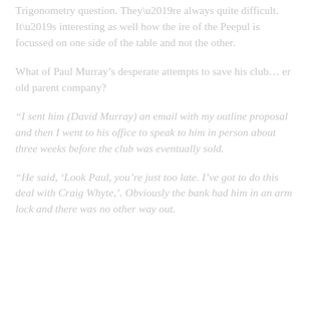Trigonometry question. They’re always quite difficult. It’s interesting as well how the ire of the Peepul is focussed on one side of the table and not the other.
What of Paul Murray’s desperate attempts to save his club… er old parent company?
“I sent him (David Murray) an email with my outline proposal and then I went to his office to speak to him in person about three weeks before the club was eventually sold.
“He said, ‘Look Paul, you’re just too late. I’ve got to do this deal with Craig Whyte,’. Obviously the bank had him in an arm lock and there was no other way out.